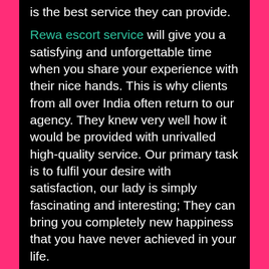is the best service they can provide.
Rewa escort service will give you a satisfying and unforgettable time when you share your experience with their nice hands. This is why clients from all over India often return to our agency. They knew very well how it would be provided with unrivalled high-quality service. Our primary task is to fulfil your desire with satisfaction, our lady is simply fascinating and interesting; They can bring you completely new happiness that you have never achieved in your life.
Independent escorts in Rewa
A wise and handsome comrade, every man